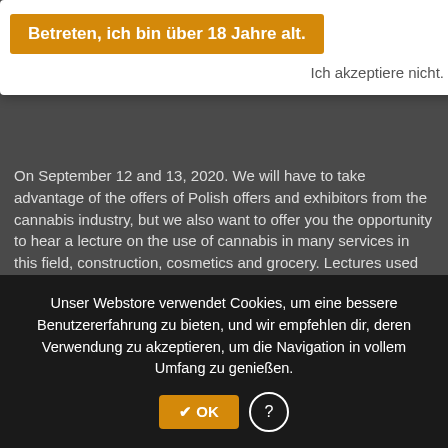Betreten, ich bin über 18 Jahre alt.
Ich akzeptiere nicht.
On September 12 and 13, 2020. We will have to take advantage of the offers of Polish offers and exhibitors from the cannabis industry, but we also want to offer you the opportunity to hear a lecture on the use of cannabis in many services in this field, construction, cosmetics and grocery. Lectures used by Polish experts in their industry.
Visitors must have access to the offers:
- CBD oils,
- seeds,
- cosmetics,
- indoor growing systems,
- groceries,
- gadgets and accessories,
and much, much more that only the soul desires.
Everything is legal! From legitimate companies and producers
Unser Webstore verwendet Cookies, um eine bessere Benutzererfahrung zu bieten, und wir empfehlen dir, deren Verwendung zu akzeptieren, um die Navigation in vollem Umfang zu genießen.
✔ OK
?